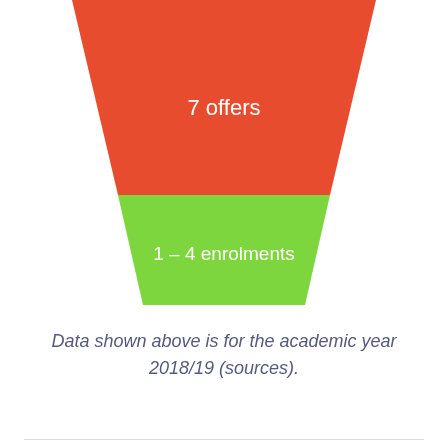[Figure (infographic): Funnel chart showing 7 offers (red/orange upper section) and 1-4 enrolments (green lower section)]
Data shown above is for the academic year 2018/19 (sources).